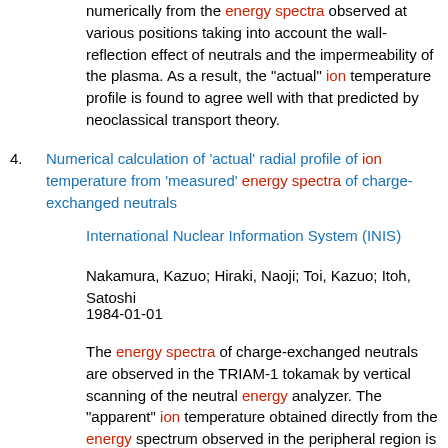numerically from the energy spectra observed at various positions taking into account the wall-reflection effect of neutrals and the impermeability of the plasma. As a result, the "actual" ion temperature profile is found to agree well with that predicted by neoclassical transport theory.
4. Numerical calculation of 'actual' radial profile of ion temperature from 'measured' energy spectra of charge-exchanged neutrals
International Nuclear Information System (INIS)
Nakamura, Kazuo; Hiraki, Naoji; Toi, Kazuo; Itoh, Satoshi
1984-01-01
The energy spectra of charge-exchanged neutrals are observed in the TRIAM-1 tokamak by vertical scanning of the neutral energy analyzer. The "apparent" ion temperature obtained directly from the energy spectrum observed in the peripheral region is much higher than that predicted by neoclassical transport theory. The "actual" ion temperature profile is derived numerically from the energy spectra observed at various positions taking into account the wall-reflection effect of neutrals and the impermeability of the plasma. As a result, the "actual"